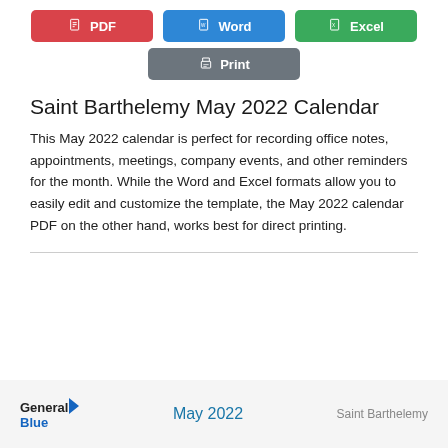[Figure (other): Three download buttons: PDF (red), Word (blue), Excel (green), and a Print button (gray) below]
Saint Barthelemy May 2022 Calendar
This May 2022 calendar is perfect for recording office notes, appointments, meetings, company events, and other reminders for the month. While the Word and Excel formats allow you to easily edit and customize the template, the May 2022 calendar PDF on the other hand, works best for direct printing.
General Blue   May 2022   Saint Barthelemy